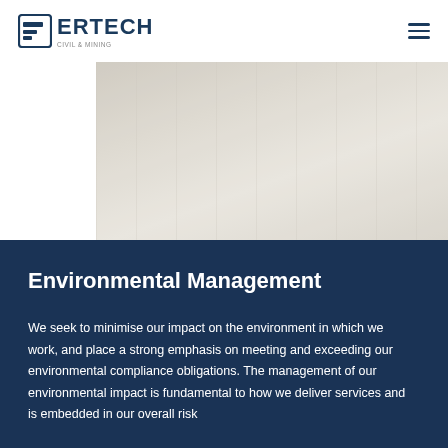ERTECH
[Figure (photo): Faded/washed out industrial or construction site photograph, partially visible on the right side of the page header area]
Environmental Management
We seek to minimise our impact on the environment in which we work, and place a strong emphasis on meeting and exceeding our environmental compliance obligations. The management of our environmental impact is fundamental to how we deliver services and is embedded in our overall risk